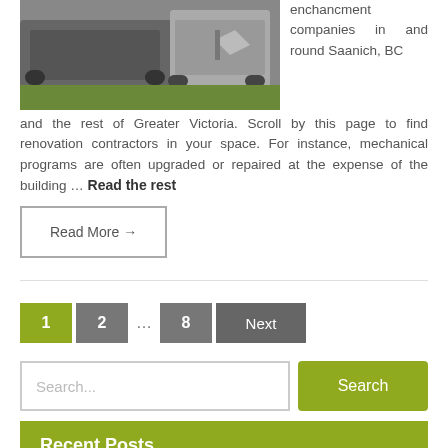[Figure (photo): Photo of cars parked on a driveway or street, with a person visible in the background]
enchancment companies in and round Saanich, BC and the rest of Greater Victoria. Scroll by this page to find renovation contractors in your space. For instance, mechanical programs are often upgraded or repaired at the expense of the building … Read the rest
Read More →
1  2  …  8  Next
Search...
Recent Posts